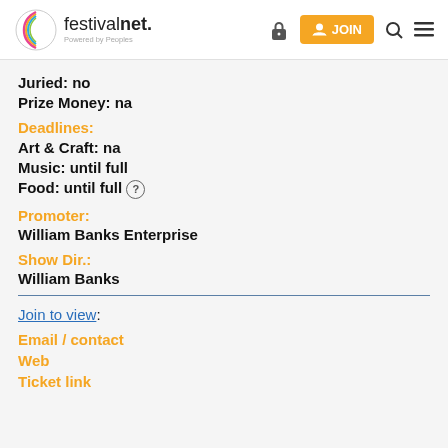festivalnet. Powered by Peoples | JOIN
Juried: no
Prize Money: na
Deadlines:
Art & Craft: na
Music: until full
Food: until full
Promoter:
William Banks Enterprise
Show Dir.:
William Banks
Join to view:
Email / contact
Web
Ticket link